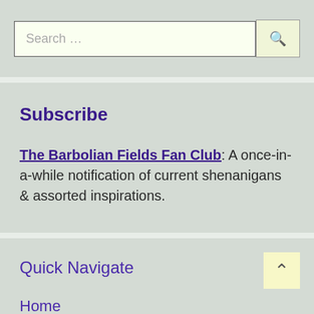Search ...
Subscribe
The Barbolian Fields Fan Club: A once-in-a-while notification of current shenanigans & assorted inspirations.
Quick Navigate
Home